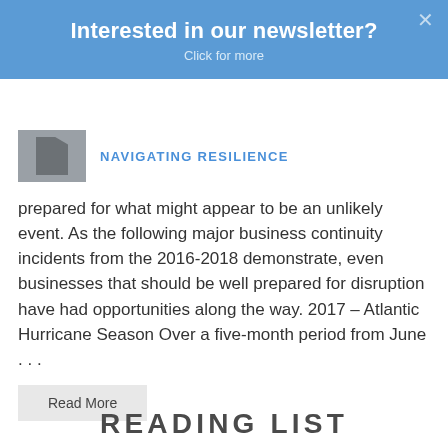Interested in our newsletter? Click for more
NAVIGATING RESILIENCE
prepared for what might appear to be an unlikely event. As the following major business continuity incidents from the 2016-2018 demonstrate, even businesses that should be well prepared for disruption have had opportunities along the way. 2017 – Atlantic Hurricane Season Over a five-month period from June . . .
Read More
READING LIST